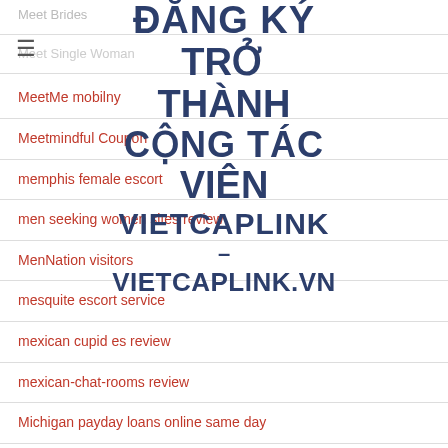Meet Brides
Meet Single Woman
MeetMe mobilny
Meetmindful Coupon
memphis female escort
men seeking women sites review
MenNation visitors
mesquite escort service
mexican cupid es review
mexican-chat-rooms review
Michigan payday loans online same day
midland female escort
[Figure (infographic): Overlay watermark-style text reading ĐĂNG KÝ TRỞ THÀNH CỘNG TÁC VIÊN VIETCAPLINK – VIETCAPLINK.VN in bold dark blue uppercase letters centered on the page]